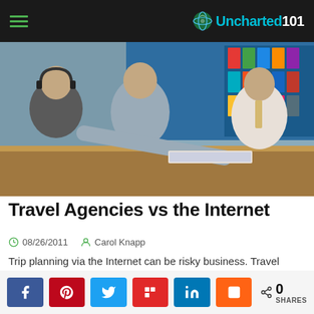Uncharted101
[Figure (photo): Two male customers leaning over a travel agency counter with a travel agent; brochures and travel posters visible in background]
Travel Agencies vs the Internet
08/26/2011   Carol Knapp
Trip planning via the Internet can be risky business. Travel
Share buttons: Facebook, Pinterest, Twitter, Flipboard, LinkedIn, Mix — 0 SHARES